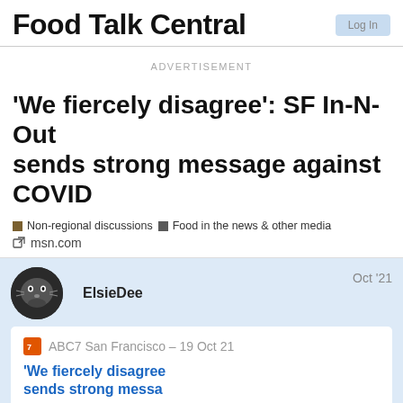Food Talk Central
ADVERTISEMENT
'We fiercely disagree': SF In-N-Out sends strong message against COVID
Non-regional discussions   Food in the news & other media   msn.com
ElsieDee   Oct '21
ABC7 San Francisco – 19 Oct 21
'We fiercely disagree   sends strong messa   1 / 42